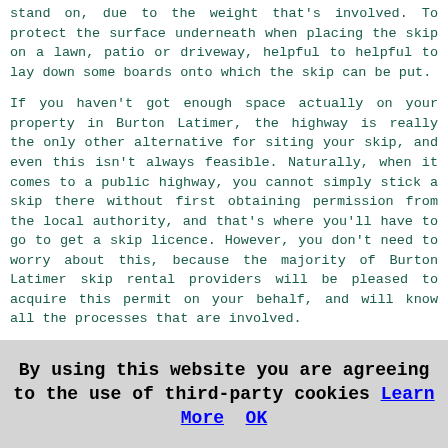stand on, due to the weight that's involved. To protect the surface underneath when placing the skip on a lawn, patio or driveway, helpful to helpful to lay down some boards onto which the skip can be put.
If you haven't got enough space actually on your property in Burton Latimer, the highway is really the only other alternative for siting your skip, and even this isn't always feasible. Naturally, when it comes to a public highway, you cannot simply stick a skip there without first obtaining permission from the local authority, and that's where you'll have to go to get a skip licence. However, you don't need to worry about this, because the majority of Burton Latimer skip rental providers will be pleased to acquire this permit on your behalf, and will know all the processes that are involved.
It really is a big advantage to use skip firm in Burton Latimer that acquires licences on its customers behalf, leaving you to concentrate on more important issues. You will have to complete an online form for a skip permit, if you cannot locate a local skip company that's ready to do this, and in actual fact it's quite a easy process.
By using this website you are agreeing to the use of third-party cookies Learn More OK